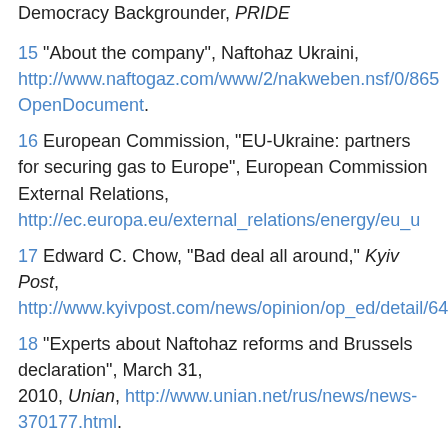Democracy Backgrounder, PRIDE
15 “About the company”, Naftohaz Ukraini, http://www.naftogaz.com/www/2/nakweben.nsf/0/865...OpenDocument.
16 European Commission, “EU-Ukraine: partners for securing gas to Europe”, European Commission External Relations, http://ec.europa.eu/external_relations/energy/eu_u...
17 Edward C. Chow, “Bad deal all around,” Kyiv Post, http://www.kyivpost.com/news/opinion/op_ed/detail/647...
18 “Experts about Naftohaz reforms and Brussels declaration”, March 31, 2010, Unian, http://www.unian.net/rus/news/news-370177.html.
19 Ibid.